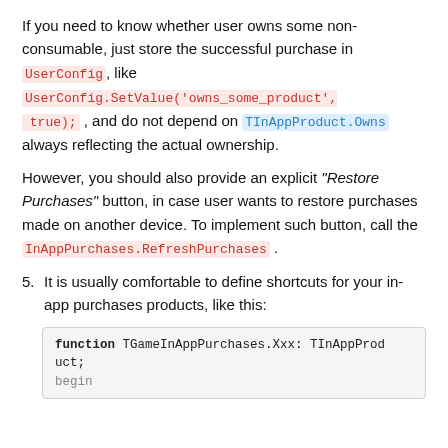If you need to know whether user owns some non-consumable, just store the successful purchase in UserConfig, like UserConfig.SetValue('owns_some_product', true); , and do not depend on TInAppProduct.Owns always reflecting the actual ownership.
However, you should also provide an explicit "Restore Purchases" button, in case user wants to restore purchases made on another device. To implement such button, call the InAppPurchases.RefreshPurchases .
5. It is usually comfortable to define shortcuts for your in-app purchases products, like this:
function TGameInAppPurchases.Xxx: TInAppProduct;
begin